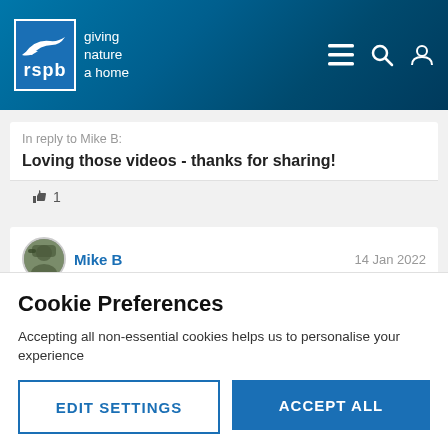[Figure (logo): RSPB logo with bird silhouette and tagline 'giving nature a home' on blue textured background with navigation icons]
In reply to Mike B:
Loving those videos - thanks for sharing!
👍 1
Mike B
14 Jan 2022
In reply to Nutbrownhare:
Cookie Preferences
Accepting all non-essential cookies helps us to personalise your experience
EDIT SETTINGS
ACCEPT ALL